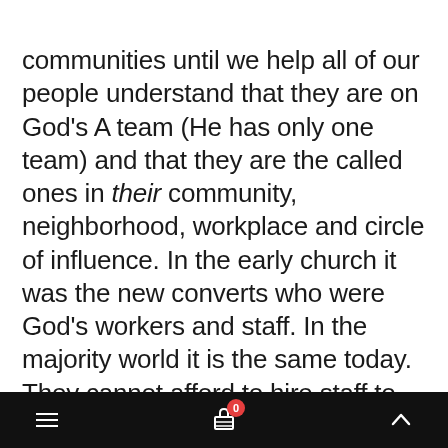communities until we help all of our people understand that they are on God's A team (He has only one team) and that they are the called ones in their community, neighborhood, workplace and circle of influence. In the early church it was the new converts who were God's workers and staff. In the majority world it is the same today. They cannot afford to hire staff to do it for them or staff that have formal degrees. We need to train, equip and deploy (Ephesians 4:12) so that all are engaged in the good works (Ephesians 2:10) that God created
≡  [cart icon with badge 0]  ∧